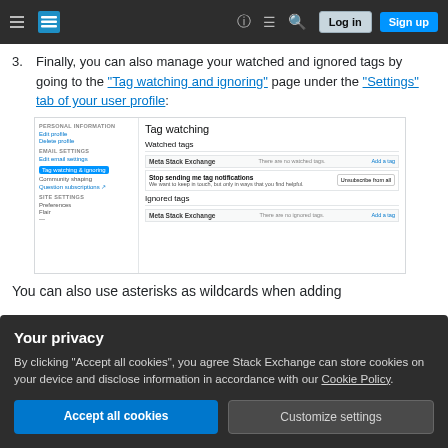Stack Exchange navigation bar with Log in and Sign up buttons
3. Finally, you can also manage your watched and ignored tags by going to the "Tag watching and ignoring" page under the "Settings" tab of your user profile:
[Figure (screenshot): Screenshot of Stack Exchange Tag watching settings page showing Watched tags and Ignored tags sections with Meta Stack Exchange tag listed, and a sidebar with navigation links including Tag watching & ignoring highlighted]
You can also use asterisks as wildcards when adding
Your privacy
By clicking "Accept all cookies", you agree Stack Exchange can store cookies on your device and disclose information in accordance with our Cookie Policy.
Accept all cookies   Customize settings